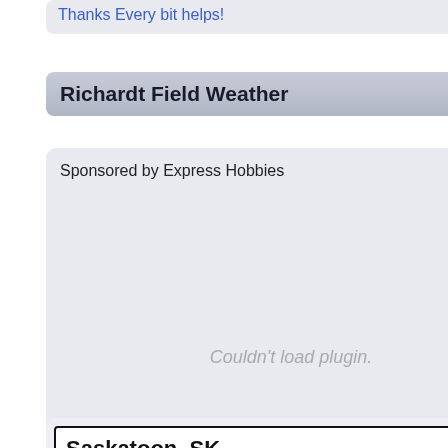Thanks Every bit helps!
Richardt Field Weather
Sponsored by Express Hobbies
Couldn't load plugin.
[Figure (infographic): Weather widget for Saskatoon, SK showing 14°C with moon/night icon, Wind: WNW 14 km/h, Tonight 13°C (stormy), Thu 30°C (sunny), Thu night 12°C (moon)]